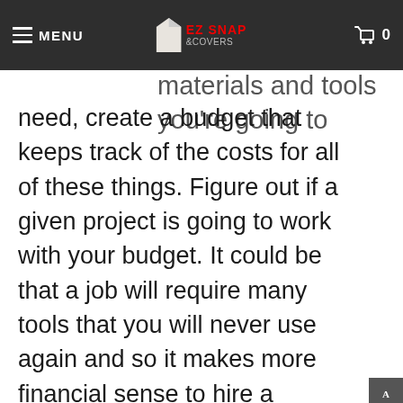MENU | EZ Snap Covers | 0
Once you've calculated all of the materials and tools you're going to need, create a budget that keeps track of the costs for all of these things. Figure out if a given project is going to work with your budget. It could be that a job will require many tools that you will never use again and so it makes more financial sense to hire a professional who already has the necessary tools.
Get required permits
Some projects, especially those that